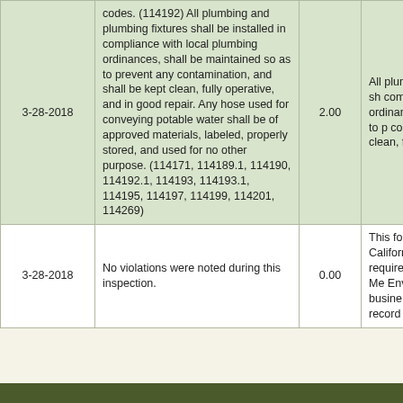| Date | Description | Score | Notes |
| --- | --- | --- | --- |
| 3-28-2018 | codes. (114192) All plumbing and plumbing fixtures shall be installed in compliance with local plumbing ordinances, shall be maintained so as to prevent any contamination, and shall be kept clean, fully operative, and in good repair. Any hose used for conveying potable water shall be of approved materials, labeled, properly stored, and used for no other purpose. (114171, 114189.1, 114190, 114192.1, 114193, 114193.1, 114195, 114197, 114199, 114201, 114269) | 2.00 | All plumb fixtures sh compliance ordinance so as to p contamina clean, full repair. |
| 3-28-2018 | No violations were noted during this inspection. | 0.00 | This food California requireme by the Me Environm for busine to the cur record an |